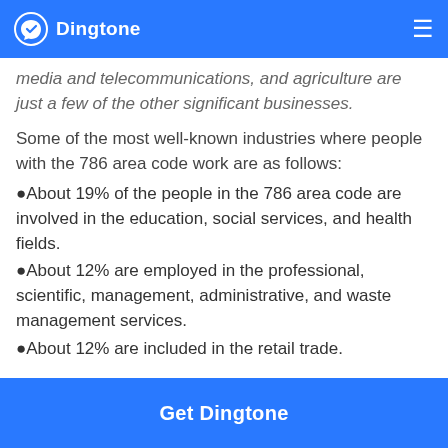Dingtone
media and telecommunications, and agriculture are just a few of the other significant businesses.
Some of the most well-known industries where people with the 786 area code work are as follows:
About 19% of the people in the 786 area code are involved in the education, social services, and health fields.
About 12% are employed in the professional, scientific, management, administrative, and waste management services.
About 12% are included in the retail trade.
Get Dingtone